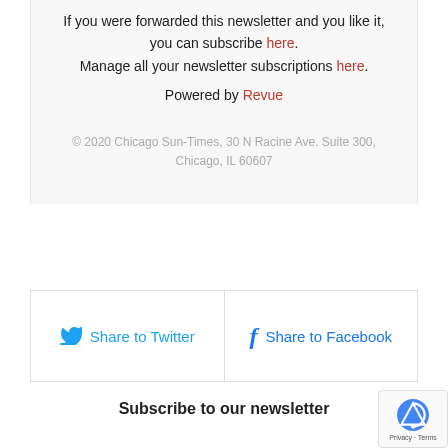If you were forwarded this newsletter and you like it, you can subscribe here. Manage all your newsletter subscriptions here. Powered by Revue
© 2020 Chicago Sun-Times, 30 N Racine Ave. Suite 300, Chicago, IL 60607
Share to Twitter
Share to Facebook
Subscribe to our newsletter